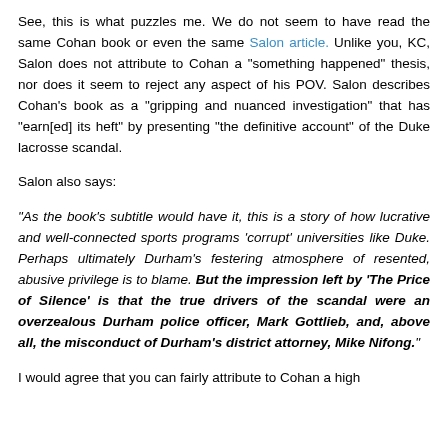See, this is what puzzles me. We do not seem to have read the same Cohan book or even the same Salon article. Unlike you, KC, Salon does not attribute to Cohan a "something happened" thesis, nor does it seem to reject any aspect of his POV. Salon describes Cohan's book as a "gripping and nuanced investigation" that has "earn[ed] its heft" by presenting "the definitive account" of the Duke lacrosse scandal.
Salon also says:
"As the book's subtitle would have it, this is a story of how lucrative and well-connected sports programs 'corrupt' universities like Duke. Perhaps ultimately Durham's festering atmosphere of resented, abusive privilege is to blame. But the impression left by 'The Price of Silence' is that the true drivers of the scandal were an overzealous Durham police officer, Mark Gottlieb, and, above all, the misconduct of Durham's district attorney, Mike Nifong."
I would agree that you can fairly attribute to Cohan a high